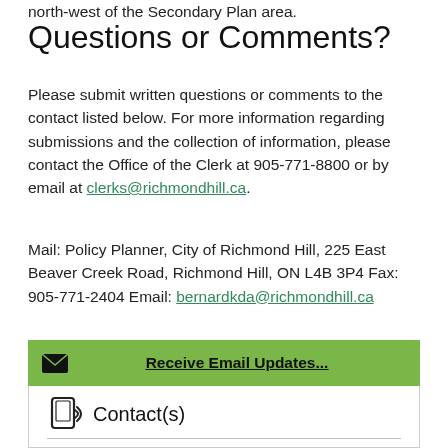north-west of the Secondary Plan area.
Questions or Comments?
Please submit written questions or comments to the contact listed below. For more information regarding submissions and the collection of information, please contact the Office of the Clerk at 905-771-8800 or by email at clerks@richmondhill.ca.
Mail: Policy Planner, City of Richmond Hill, 225 East Beaver Creek Road, Richmond Hill, ON L4B 3P4 Fax: 905-771-2404 Email: bernardkda@richmondhill.ca
Receive Email Updates...
Contact(s)
City of Richmond Hill